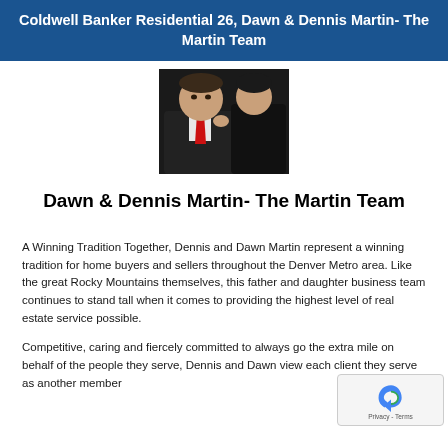Coldwell Banker Residential 26, Dawn & Dennis Martin- The Martin Team
[Figure (photo): Professional photo of Dawn and Dennis Martin, a man in dark suit with red tie and a woman beside him]
Dawn & Dennis Martin- The Martin Team
A Winning Tradition Together, Dennis and Dawn Martin represent a winning tradition for home buyers and sellers throughout the Denver Metro area. Like the great Rocky Mountains themselves, this father and daughter business team continues to stand tall when it comes to providing the highest level of real estate service possible.
Competitive, caring and fiercely committed to always go the extra mile on behalf of the people they serve, Dennis and Dawn view each client they serve as another member